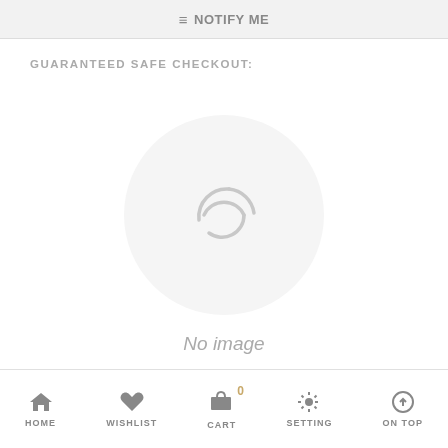NOTIFY ME
GUARANTEED SAFE CHECKOUT:
[Figure (illustration): A circular placeholder with a loading/spinner icon indicating no image is available, with text 'No image' below it]
HOME  WISHLIST  CART 0  SETTING  ON TOP